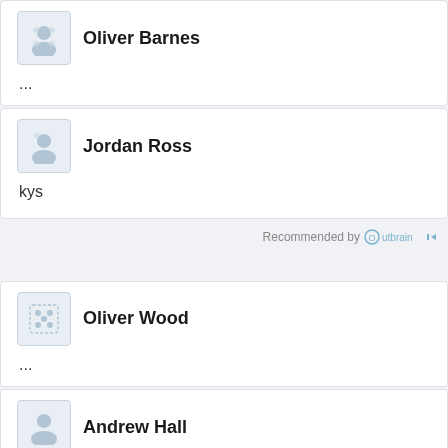Oliver Barnes
...
Jordan Ross
kys
Recommended by Outbrain
Oliver Wood
...
Andrew Hall
Fuck yeah, sounds about right. They're going to rot and rust in the desert and all the material and energy used to